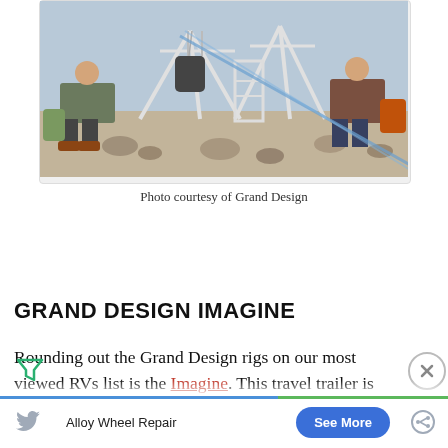[Figure (photo): Outdoor camping scene with people sitting in chairs around a Dutch oven on a tripod stand over rocks, with camping gear visible]
Photo courtesy of Grand Design
GRAND DESIGN IMAGINE
Rounding out the Grand Design rigs on our most viewed RVs list is the Imagine. This travel trailer is lightweight but doesn't skimp out on features. It boasts an industry-leading tank capacity so you can
[Figure (other): Advertisement bar: Alloy Wheel Repair with See More button]